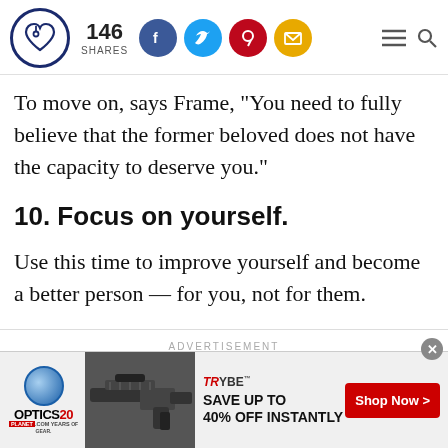146 SHARES [social share bar with Facebook, Twitter, Pinterest, Email icons]
To move on, says Frame, "You need to fully believe that the former beloved does not have the capacity to deserve you."
10. Focus on yourself.
Use this time to improve yourself and become a better person — for you, not for them.
[Figure (screenshot): Advertisement banner for Optics Planet 20 years with gun image and Trybe offer: SAVE UP TO 40% OFF INSTANTLY with Shop Now button]